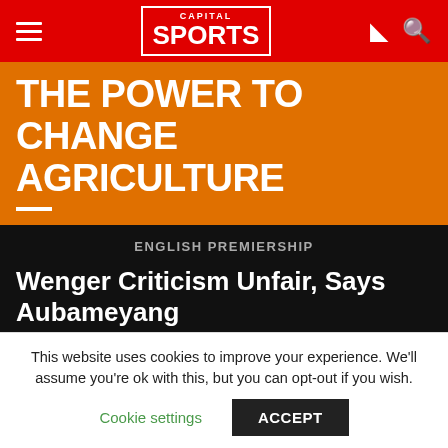Capital SPORTS
THE POWER TO CHANGE AGRICULTURE
ENGLISH PREMIERSHIP
Wenger Criticism Unfair, Says Aubameyang
By TEAMtalk Media
Published April 10, 2018
This website uses cookies to improve your experience. We'll assume you're ok with this, but you can opt-out if you wish.
Cookie settings  ACCEPT